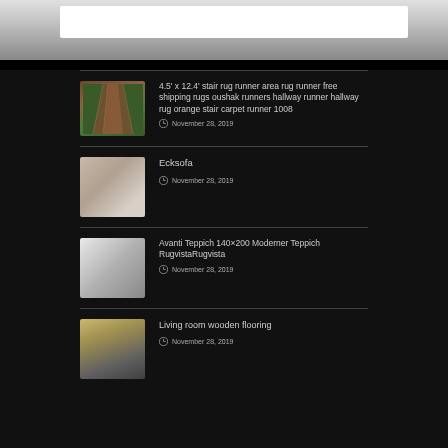4.5' x 12.4' stair rug runner area rug runner free shipping rugs oushak runners hallway runner hallway rug orange stair carpet runner 1008
November 28, 2019
Ecksofa
November 28, 2019
Avanti Teppich 140×200 Moderner Teppich RugvistaRugvista
November 28, 2019
Living room wooden flooring
November 28, 2019